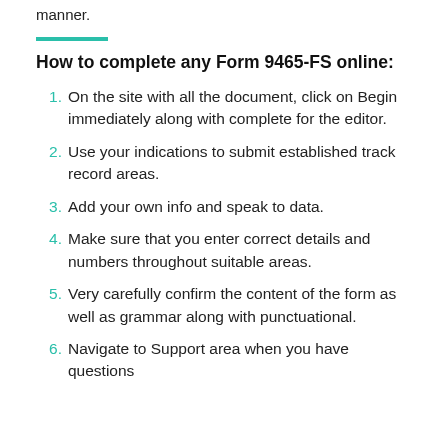manner.
How to complete any Form 9465-FS online:
On the site with all the document, click on Begin immediately along with complete for the editor.
Use your indications to submit established track record areas.
Add your own info and speak to data.
Make sure that you enter correct details and numbers throughout suitable areas.
Very carefully confirm the content of the form as well as grammar along with punctuational.
Navigate to Support area when you have questions